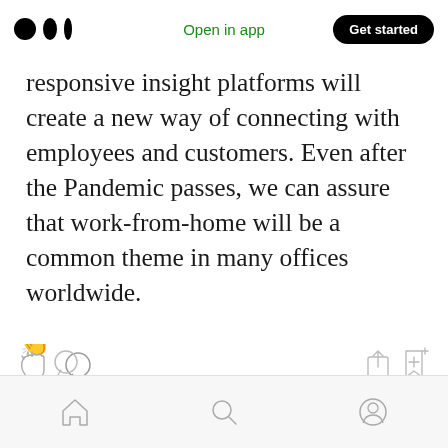Medium app header with logo, Open in app, Get started
responsive insight platforms will create a new way of connecting with employees and customers. Even after the Pandemic passes, we can assure that work-from-home will be a common theme in many offices worldwide.
[Figure (screenshot): Article action icons: clap, comment (left), share, bookmark-plus (right), plus floating pill with clap and comment icons]
[Figure (screenshot): Bottom navigation bar with home, search, and profile icons]